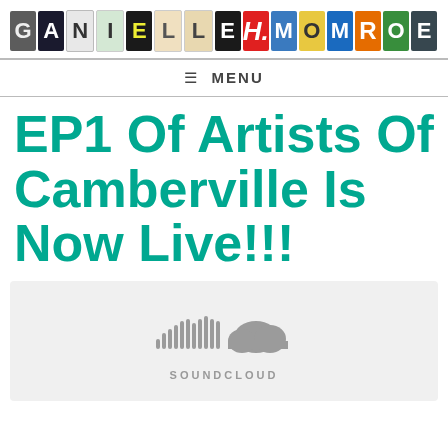[Figure (logo): Danielle H. Monroe logo made of colorful letter blocks]
≡ MENU
EP1 Of Artists Of Camberville Is Now Live!!!
[Figure (screenshot): SoundCloud embedded player widget with SoundCloud logo and icon on grey background]